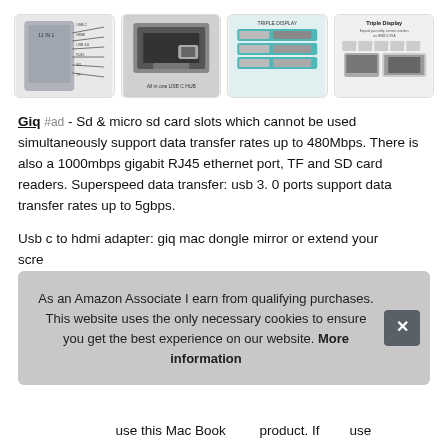[Figure (photo): Row of four product thumbnail images showing a USB-C hub device, its connections, triple display diagram, and Triple Display marketing image]
Giq #ad - Sd & micro sd card slots which cannot be used simultaneously support data transfer rates up to 480Mbps. There is also a 1000mbps gigabit RJ45 ethernet port, TF and SD card readers. Superspeed data transfer: usb 3. 0 ports support data transfer rates up to 5gbps.
Usb c to hdmi adapter: giq mac dongle mirror or extend your scre vide gua serv solu
As an Amazon Associate I earn from qualifying purchases. This website uses the only necessary cookies to ensure you get the best experience on our website. More information
...use this Mac Book...product. If...